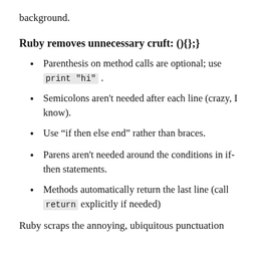background.
Ruby removes unnecessary cruft: (){};
Parenthesis on method calls are optional; use print "hi" .
Semicolons aren't needed after each line (crazy, I know).
Use “if then else end” rather than braces.
Parens aren't needed around the conditions in if-then statements.
Methods automatically return the last line (call return explicitly if needed)
Ruby scraps the annoying, ubiquitous punctuation